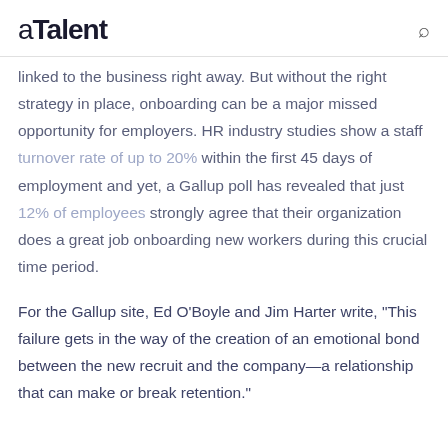aTalent
linked to the business right away. But without the right strategy in place, onboarding can be a major missed opportunity for employers. HR industry studies show a staff turnover rate of up to 20% within the first 45 days of employment and yet, a Gallup poll has revealed that just 12% of employees strongly agree that their organization does a great job onboarding new workers during this crucial time period.
For the Gallup site, Ed O’Boyle and Jim Harter write, “This failure gets in the way of the creation of an emotional bond between the new recruit and the company—a relationship that can make or break retention.”
How does a company design an onboarding procedure that